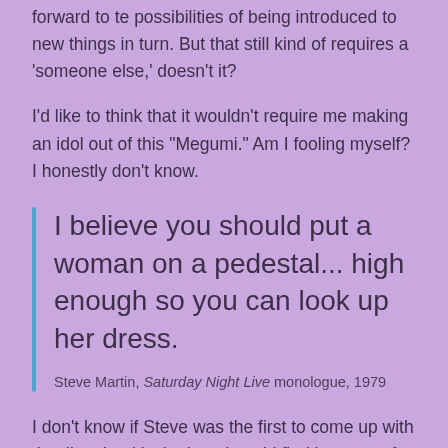forward to te possibilities of being introduced to new things in turn. But that still kind of requires a 'someone else,' doesn't it?
I'd like to think that it wouldn't require me making an idol out of this "Megumi." Am I fooling myself? I honestly don't know.
I believe you should put a woman on a pedestal... high enough so you can look up her dress.
Steve Martin, Saturday Night Live monologue, 1979
I don't know if Steve was the first to come up with that line, but it's the best I could find in terms of attribution (personally, I could swear I've heard it phrased more as a